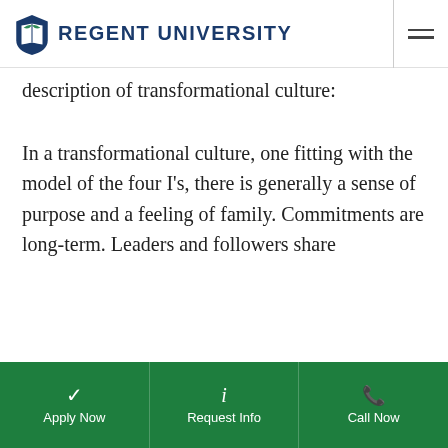Regent University
...description of transformational culture:
In a transformational culture, one fitting with the model of the four I's, there is generally a sense of purpose and a feeling of family. Commitments are long-term. Leaders and followers share
We may use cookies and technologies to record sessions and collect data to improve user's experience. You understand and agree to our Privacy Policy.
Apply Now | Request Info | Call Now